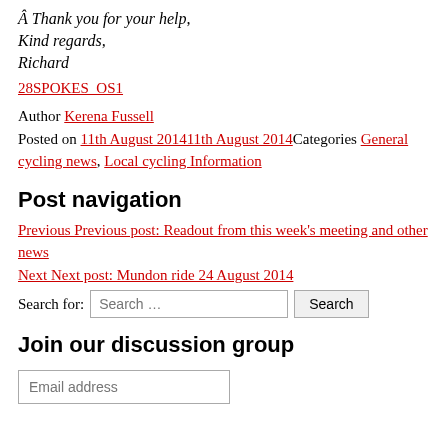Â Thank you for your help,
Kind regards,
Richard
28SPOKES_OS1
Author Kerena Fussell Posted on 11th August 201411th August 2014Categories General cycling news, Local cycling Information
Post navigation
Previous Previous post: Readout from this week's meeting and other news
Next Next post: Mundon ride 24 August 2014
Search for:
Join our discussion group